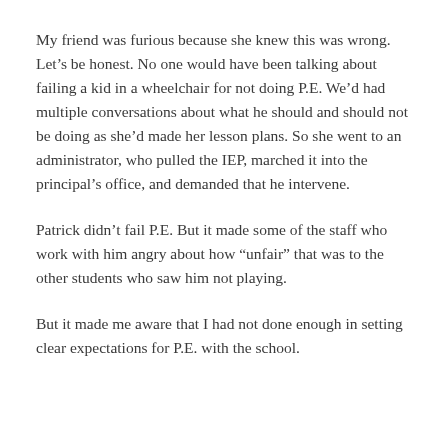My friend was furious because she knew this was wrong. Let’s be honest. No one would have been talking about failing a kid in a wheelchair for not doing P.E. We’d had multiple conversations about what he should and should not be doing as she’d made her lesson plans. So she went to an administrator, who pulled the IEP, marched it into the principal’s office, and demanded that he intervene.
Patrick didn’t fail P.E. But it made some of the staff who work with him angry about how “unfair” that was to the other students who saw him not playing.
But it made me aware that I had not done enough in setting clear expectations for P.E. with the school.